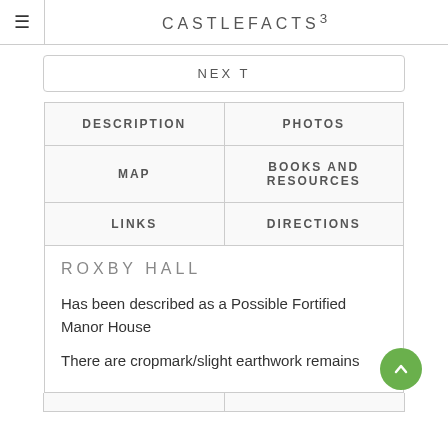CASTLEFACTS³
NEXT
| DESCRIPTION | PHOTOS |
| --- | --- |
| MAP | BOOKS AND RESOURCES |
| LINKS | DIRECTIONS |
ROXBY HALL
Has been described as a Possible Fortified Manor House
There are cropmark/slight earthwork remains